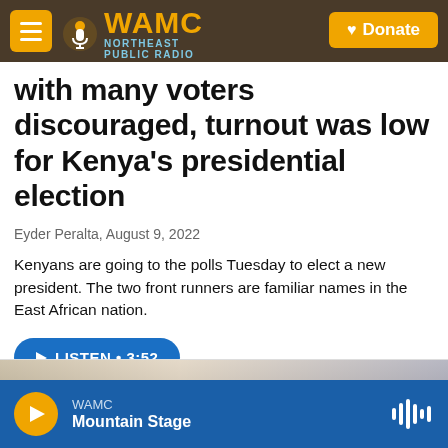WAMC Northeast Public Radio — Donate
with many voters discouraged, turnout was low for Kenya's presidential election
Eyder Peralta, August 9, 2022
Kenyans are going to the polls Tuesday to elect a new president. The two front runners are familiar names in the East African nation.
LISTEN • 3:52
WAMC Mountain Stage